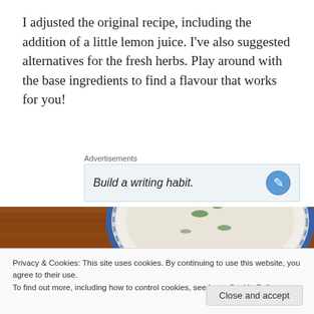I adjusted the original recipe, including the addition of a little lemon juice. I've also suggested alternatives for the fresh herbs. Play around with the base ingredients to find a flavour that works for you!
Advertisements
Build a writing habit.
[Figure (photo): Top-down photo of a bowl of creamy herb dip or tzatziki in a blue and white ceramic bowl on a wooden surface]
Privacy & Cookies: This site uses cookies. By continuing to use this website, you agree to their use.
To find out more, including how to control cookies, see here: Cookie Policy
Close and accept